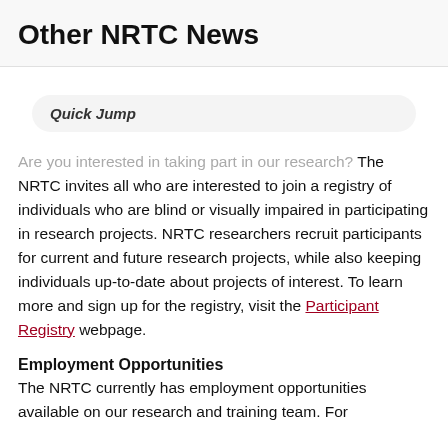Other NRTC News
Quick Jump
Are you interested in taking part in our research? The NRTC invites all who are interested to join a registry of individuals who are blind or visually impaired in participating in research projects. NRTC researchers recruit participants for current and future research projects, while also keeping individuals up-to-date about projects of interest. To learn more and sign up for the registry, visit the Participant Registry webpage.
Employment Opportunities
The NRTC currently has employment opportunities available on our research and training team. For